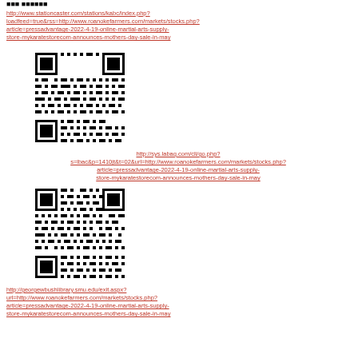[partially visible top label/logo text]
http://www.stationcaster.com/stations/kabc/index.php?loadfeed=true&rss=http://www.roanokefarmers.com/markets/stocks.php?article=pressadvantage-2022-4-19-online-martial-arts-supply-store-mykaratestorecom-announces-mothers-day-sale-in-may
[Figure (other): QR code image linking to a URL about mykaratestorecom mothers day sale]
http://sys.labaq.com/cli/go.php?s=lbac&p=1410jt&t=02&url=http://www.roanokefarmers.com/markets/stocks.php?article=pressadvantage-2022-4-19-online-martial-arts-supply-store-mykaratestorecom-announces-mothers-day-sale-in-may
[Figure (other): QR code image linking to a URL about mykaratestorecom mothers day sale]
http://georgewbushlibrary.smu.edu/exit.aspx?url=http://www.roanokefarmers.com/markets/stocks.php?article=pressadvantage-2022-4-19-online-martial-arts-supply-store-mykaratestorecom-announces-mothers-day-sale-in-may